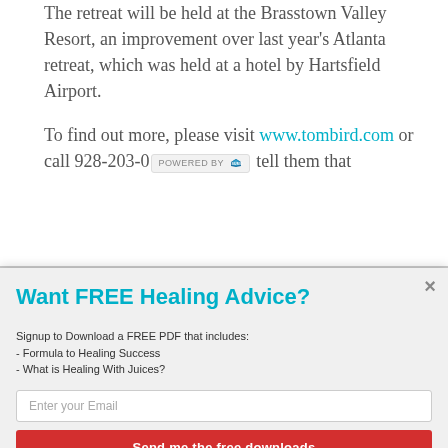The retreat will be held at the Brasstown Valley Resort, an improvement over last year's Atlanta retreat, which was held at a hotel by Hartsfield Airport.
To find out more, please visit www.tombird.com or call 928-203-0... [POWERED BY SUMO] tell them that
Want FREE Healing Advice?
Signup to Download a FREE PDF that includes:
- Formula to Healing Success
- What is Healing With Juices?
Enter your Email
Send me the free downloads